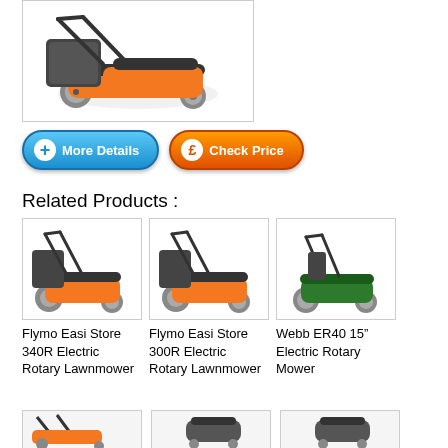[Figure (photo): Orange Flymo electric rotary lawnmower with grass collector bag]
[Figure (other): Blue 'More Details' button with plus icon]
[Figure (other): Orange 'Check Price' button with pound sign icon]
Related Products :
[Figure (photo): Flymo Easi Store 340R Electric Rotary Lawnmower product image]
Flymo Easi Store 340R Electric Rotary Lawnmower
[Figure (photo): Flymo Easi Store 300R Electric Rotary Lawnmower product image]
Flymo Easi Store 300R Electric Rotary Lawnmower
[Figure (photo): Webb ER40 15" Electric Rotary Mower product image]
Webb ER40 15” Electric Rotary Mower
[Figure (photo): Partially visible lawnmower product image bottom left]
[Figure (photo): Partially visible lawnmower product image bottom center]
[Figure (photo): Partially visible lawnmower product image bottom right]